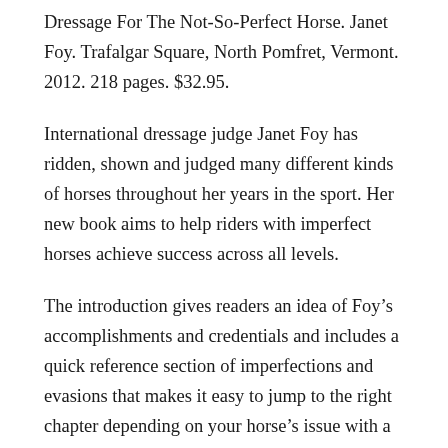Dressage For The Not-So-Perfect Horse. Janet Foy. Trafalgar Square, North Pomfret, Vermont. 2012. 218 pages. $32.95.
International dressage judge Janet Foy has ridden, shown and judged many different kinds of horses throughout her years in the sport. Her new book aims to help riders with imperfect horses achieve success across all levels.
The introduction gives readers an idea of Foy’s accomplishments and credentials and includes a quick reference section of imperfections and evasions that makes it easy to jump to the right chapter depending on your horse’s issue with a particular movement.